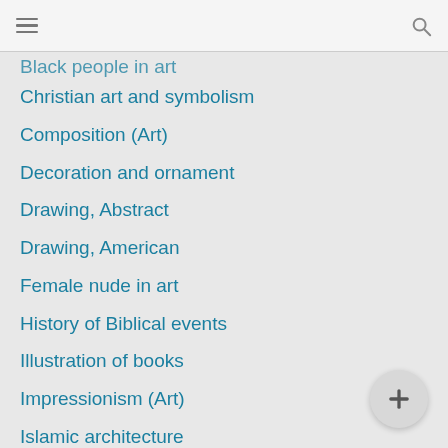Navigation header with hamburger menu and search icon
Black people in art
Christian art and symbolism
Composition (Art)
Decoration and ornament
Drawing, Abstract
Drawing, American
Female nude in art
History of Biblical events
Illustration of books
Impressionism (Art)
Islamic architecture
Jesus Christ
Mary, Blessed Virgin, Saint
Men
Modernism (Art)